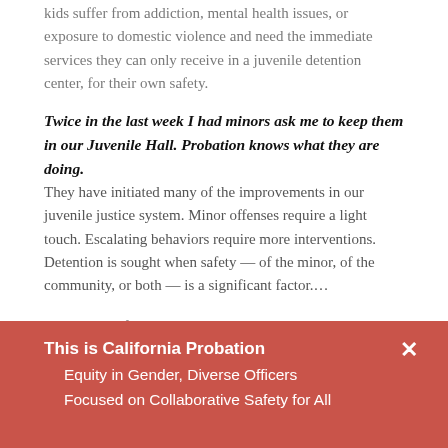kids suffer from addiction, mental health issues, or exposure to domestic violence and need the immediate services they can only receive in a juvenile detention center, for their own safety.
Twice in the last week I had minors ask me to keep them in our Juvenile Hall. Probation knows what they are doing. They have initiated many of the improvements in our juvenile justice system. Minor offenses require a light touch. Escalating behaviors require more interventions. Detention is sought when safety — of the minor, of the community, or both — is a significant factor....
For the rest of the opinion editorial, please click here.
This is California Probation
Equity in Gender, Diverse Officers
Focused on Collaborative Safety for All